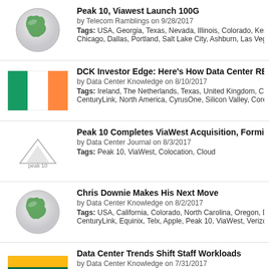Peak 10, Viawest Launch 100G by Telecom Ramblings on 9/28/2017 Tags: USA, Georgia, Texas, Nevada, Illinois, Colorado, Kentucky, North Carolina, Chicago, Dallas, Portland, Salt Lake City, Ashburn, Las Vegas, New York and more.
DCK Investor Edge: Here’s How Data Center REITs Did in the First Half by Data Center Knowledge on 8/10/2017 Tags: Ireland, The Netherlands, Texas, United Kingdom, California, Germany, Dallas, CenturyLink, North America, CyrusOne, Silicon Valley, CoreSite, Peak 10, Dublin,
Peak 10 Completes ViaWest Acquisition, Forming Nationwide Leader in by Data Center Journal on 8/3/2017 Tags: Peak 10, ViaWest, Colocation, Cloud
Chris Downie Makes His Next Move by Data Center Knowledge on 8/2/2017 Tags: USA, California, Colorado, North Carolina, Oregon, Denver, Charlotte, Portland, CenturyLink, Equinix, Telx, Apple, Peak 10, ViaWest, Verizon, TierPoint, San Francis
Data Center Trends Shift Staff Workloads by Data Center Knowledge on 7/31/2017 Tags: Digital Realty, Facebook, Google, Intel, Peak 10, VMware, Colocation, Cloud,